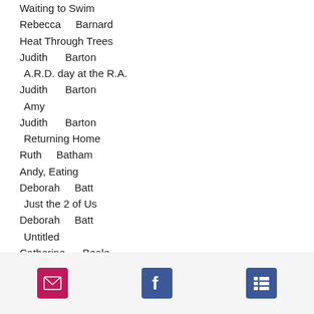Waiting to Swim
Rebecca    Barnard
Heat Through Trees
Judith     Barton
A.R.D. day at the R.A.
Judith     Barton
Amy
Judith     Barton
Returning Home
Ruth    Batham
Andy, Eating
Deborah    Batt
Just the 2 of Us
Deborah    Batt
Untitled
Catherine     Beale
Icon
Catherine     Beale
The Glance
Catherine    Beale
[email icon] [facebook icon] [list icon]